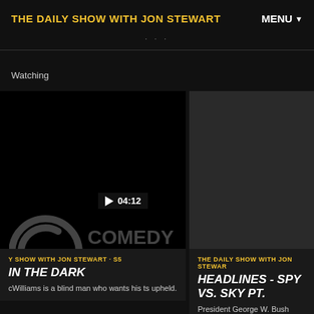THE DAILY SHOW WITH JON STEWART
MENU
...
Watching
[Figure (screenshot): Comedy Central logo on dark background with play button overlay showing 04:12]
[Figure (screenshot): Dark video thumbnail showing 'Now Playing' text]
Y SHOW WITH JON STEWART • S5
IN THE DARK
cWilliams is a blind man who wants his ts upheld.
THE DAILY SHOW WITH JON STEWAR
HEADLINES - SPY VS. SKY PT.
President George W. Bush dema return U.S. spy plane and its 24 m